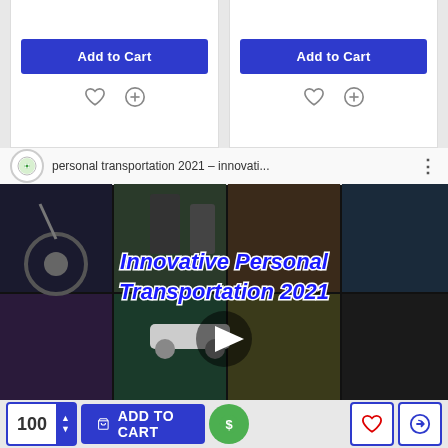[Figure (screenshot): Two product cards each with 'Add to Cart' button (blue), heart icon, and compare icon]
[Figure (screenshot): YouTube video thumbnail for 'personal transportation 2021 – innovati...' showing collage of personal transport devices with overlay text 'Innovative Personal Transportation 2021' and play button]
[Figure (screenshot): Bottom shopping bar with quantity selector showing 100, ADD TO CART button, dollar sign button, heart button, and compare button]